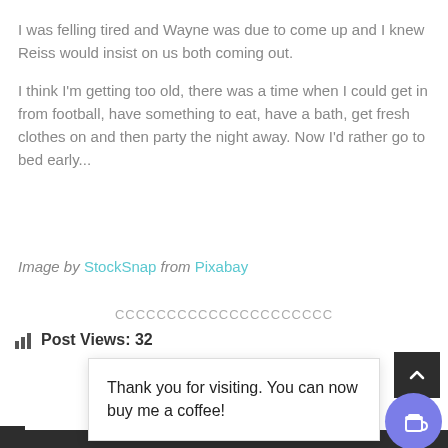I was felling tired and Wayne was due to come up and I knew Reiss would insist on us both coming out.
I think I'm getting too old, there was a time when I could get in from football, have something to eat, have a bath, get fresh clothes on and then party the night away. Now I'd rather go to bed early...
Image by StockSnap from Pixabay
CCCCCCCCCCCCCCCCCCCCC
Post Views: 32
Thank you for visiting. You can now buy me a coffee!